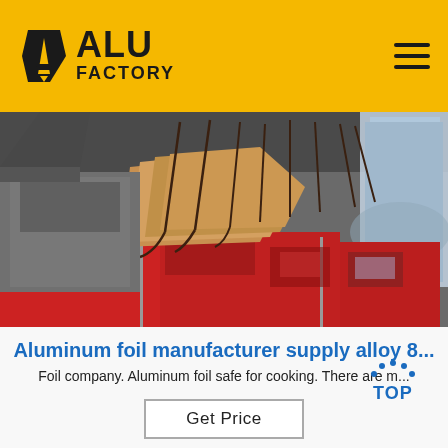[Figure (logo): ALU FACTORY logo on yellow header bar with hamburger menu icon on the right]
[Figure (photo): Industrial factory interior showing aluminum processing machinery with copper-colored metal rolls and red equipment cabinets]
Aluminum foil manufacturer supply alloy 8...
Foil company. Aluminum foil safe for cooking. There are m...
[Figure (logo): Blue TOP badge/watermark with dotted circular design]
Get Price